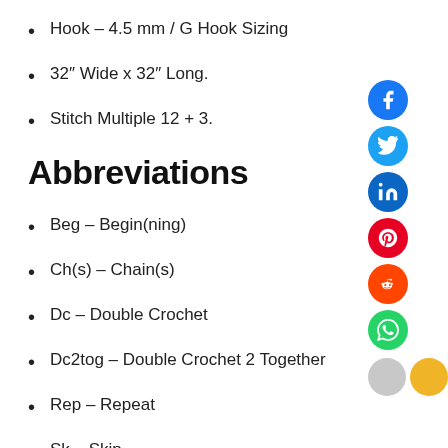Hook – 4.5 mm / G Hook Sizing
32″ Wide x 32″ Long.
Stitch Multiple 12 + 3.
Abbreviations
Beg – Begin(ning)
Ch(s) – Chain(s)
Dc – Double Crochet
Dc2tog – Double Crochet 2 Together
Rep – Repeat
Sk – Skip
– Slip Stitch
St(s) – Stitch(es)